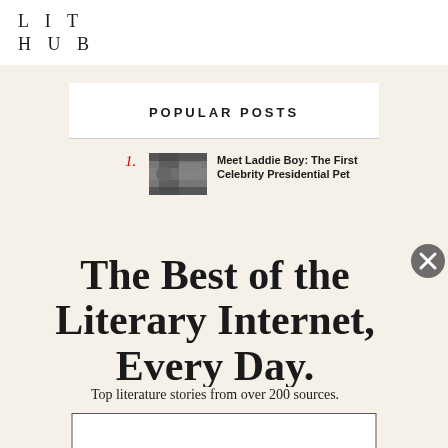LIT HUB
POPULAR POSTS
1. Meet Laddie Boy: The First Celebrity Presidential Pet
The Best of the Literary Internet, Every Day.
Top literature stories from over 200 sources.
SUBSCRIBE